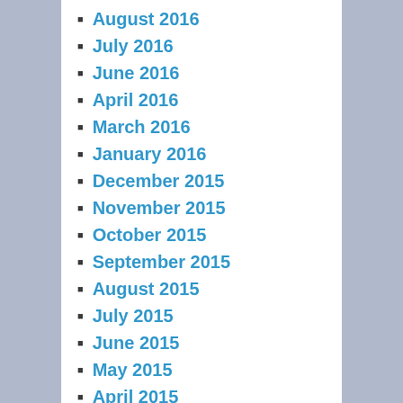August 2016
July 2016
June 2016
April 2016
March 2016
January 2016
December 2015
November 2015
October 2015
September 2015
August 2015
July 2015
June 2015
May 2015
April 2015
March 2015
February 2015
January 2015
December 2014
November 2014
October 2014
September 2014